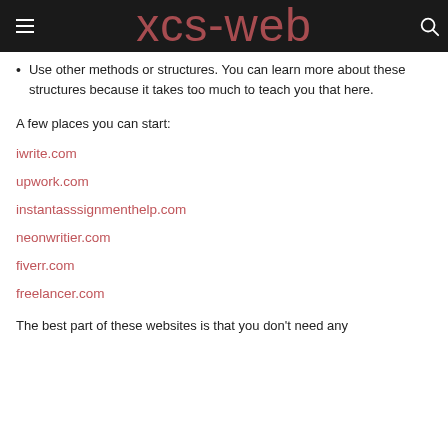xcs-web
Use other methods or structures. You can learn more about these structures because it takes too much to teach you that here.
A few places you can start:
iwrite.com
upwork.com
instantasssignmenthelp.com
neonwritier.com
fiverr.com
freelancer.com
The best part of these websites is that you don't need any